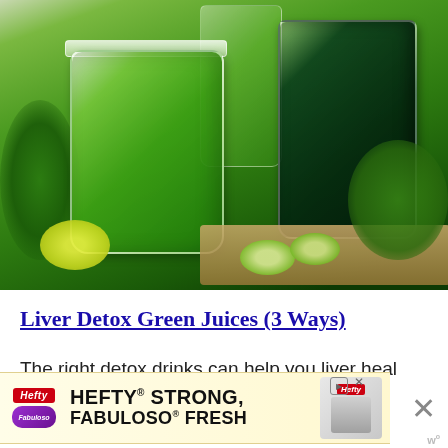[Figure (photo): Photo of green detox juices in mason jar and glass tumbler, surrounded by parsley, cucumber slices, lime wedge, and herbs on a wooden board]
Liver Detox Green Juices (3 Ways)
The right detox drinks can help you liver heal its...
[Figure (infographic): Hefty advertisement banner: HEFTY STRONG, FABULOSO FRESH with logos and product images]
h...